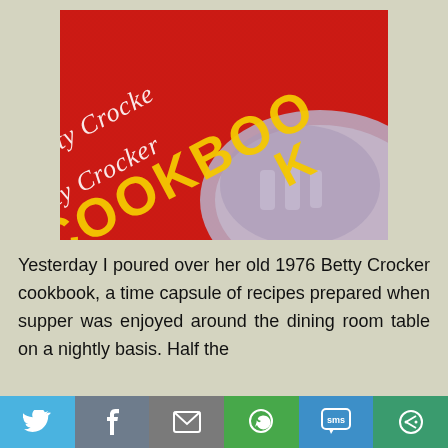[Figure (photo): Close-up photo of a red Betty Crocker Cookbook cover with yellow lettering, showing 'Betty Crocker' in script and 'COOKBOOK' in large block letters, with a decorative circular medallion in the lower right corner.]
Yesterday I poured over her old 1976 Betty Crocker cookbook, a time capsule of recipes prepared when supper was enjoyed around the dining room table on a nightly basis. Half the
[Figure (infographic): Social sharing bar with six buttons: Twitter (light blue), Facebook (grey-blue), Email (grey), WhatsApp (green), SMS (blue), and More/Share (teal-green).]